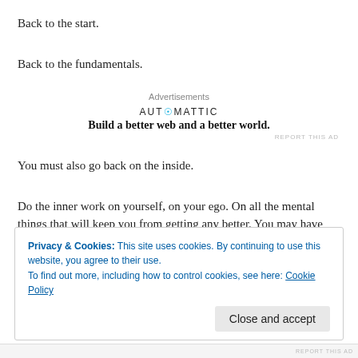Back to the start.
Back to the fundamentals.
[Figure (other): Automattic advertisement banner: logo 'AUTOMATTIC' and tagline 'Build a better web and a better world.']
You must also go back on the inside.
Do the inner work on yourself, on your ego. On all the mental things that will keep you from getting any better. You may have fear, anger, lack of confidence, a fragile sense of yourself or an overblown sense of yourself.
If you can't go back into yourself to do this deep inner work, you will never
Privacy & Cookies: This site uses cookies. By continuing to use this website, you agree to their use.
To find out more, including how to control cookies, see here: Cookie Policy
Close and accept